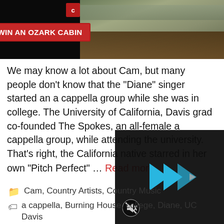[Figure (other): Advertisement banner: 'WIN AN OZARK CABIN' red button on black background with cabin photo on right]
We may know a lot about Cam, but many people don't know that the “Diane” singer started an a cappella group while she was in college. The University of California, Davis grad co-founded The Spokes, an all-female a cappella group, while attending the university. That’s right, the California native starred in her own “Pitch Perfect” … Read more
Cam, Country Artists, Country Music
a cappella, Burning House, college, Diane, UC Davis
Leave a comment
[Figure (screenshot): Video player overlay with blue play icon (three triangles) on dark background with mute icon in lower left]